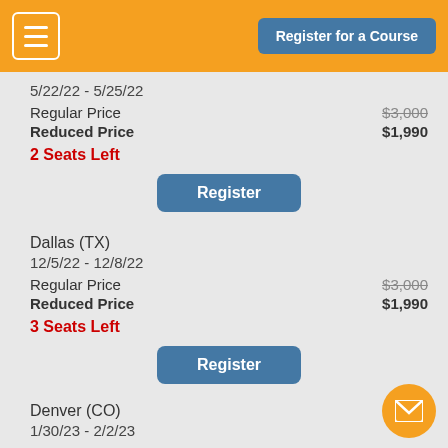Register for a Course
5/22/22 - 5/25/22
Regular Price $3,000
Reduced Price $1,990
2 Seats Left
Register
Dallas (TX)
12/5/22 - 12/8/22
Regular Price $3,000
Reduced Price $1,990
3 Seats Left
Register
Denver (CO)
1/30/23 - 2/2/23